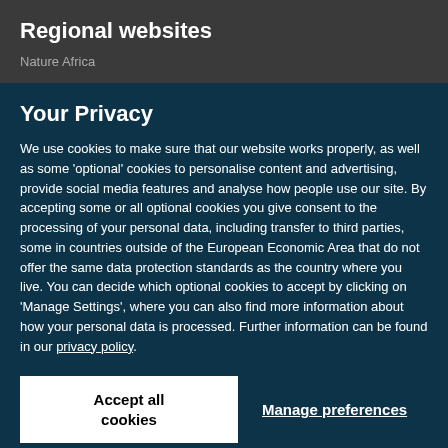Regional websites
Nature Africa
Your Privacy
We use cookies to make sure that our website works properly, as well as some 'optional' cookies to personalise content and advertising, provide social media features and analyse how people use our site. By accepting some or all optional cookies you give consent to the processing of your personal data, including transfer to third parties, some in countries outside of the European Economic Area that do not offer the same data protection standards as the country where you live. You can decide which optional cookies to accept by clicking on 'Manage Settings', where you can also find more information about how your personal data is processed. Further information can be found in our privacy policy.
Accept all cookies
Manage preferences